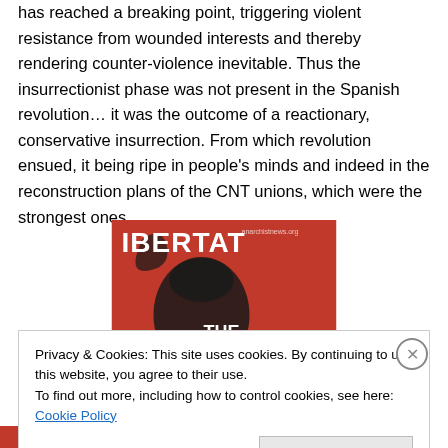has reached a breaking point, triggering violent resistance from wounded interests and thereby rendering counter-violence inevitable. Thus the insurrectionist phase was not present in the Spanish revolution… it was the outcome of a reactionary, conservative insurrection. From which revolution ensued, it being ripe in people's minds and indeed in the reconstruction plans of the CNT unions, which were the strongest ones.
[Figure (illustration): Book cover for 'IBERTAT THE ANARCHIST' with red background and raised fist graphic]
Privacy & Cookies: This site uses cookies. By continuing to use this website, you agree to their use.
To find out more, including how to control cookies, see here: Cookie Policy